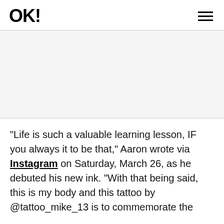OK!
[Figure (other): White/light grey advertisement placeholder block]
"Life is such a valuable learning lesson, IF you always it to be that," Aaron wrote via Instagram on Saturday, March 26, as he debuted his new ink. "With that being said, this is my body and this tattoo by @tattoo_mike_13 is to commemorate the